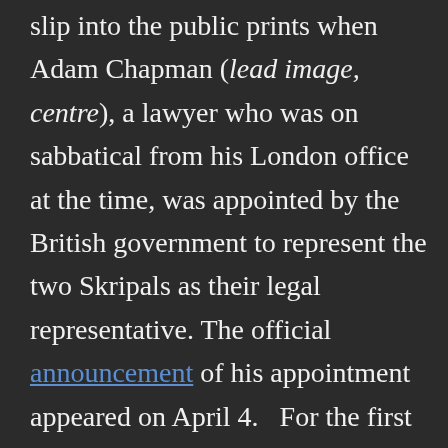slip into the public prints when Adam Chapman (lead image, centre), a lawyer who was on sabbatical from his London office at the time, was appointed by the British government to represent the two Skripals as their legal representative. The official announcement of his appointment appeared on April 4.   For the first time since March 4, 2018, when the front door-handle of their cottage was attacked, and Skripal and his